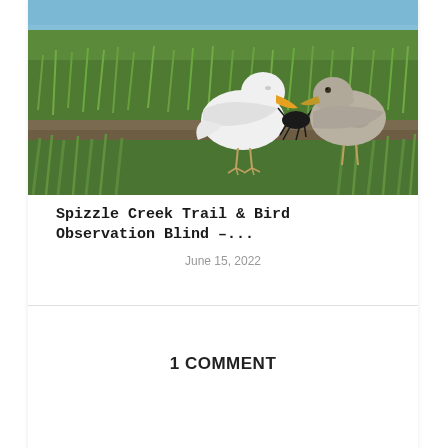[Figure (photo): Two seagulls on a grassy marsh bank near water. One white gull holds a dark crab in its yellow beak; another mottled grey-brown gull stands beside it. Green marsh grass and blue water visible in background.]
Spizzle Creek Trail & Bird Observation Blind –...
June 15, 2022
1 COMMENT